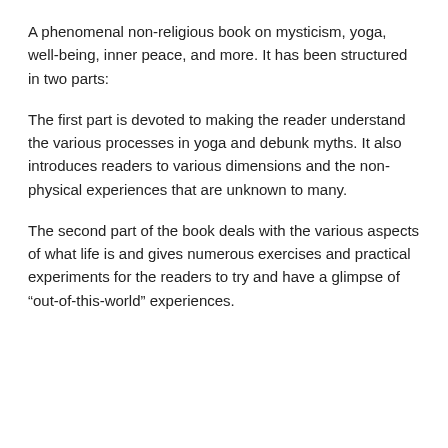A phenomenal non-religious book on mysticism, yoga, well-being, inner peace, and more. It has been structured in two parts:
The first part is devoted to making the reader understand the various processes in yoga and debunk myths. It also introduces readers to various dimensions and the non-physical experiences that are unknown to many.
The second part of the book deals with the various aspects of what life is and gives numerous exercises and practical experiments for the readers to try and have a glimpse of “out-of-this-world” experiences.